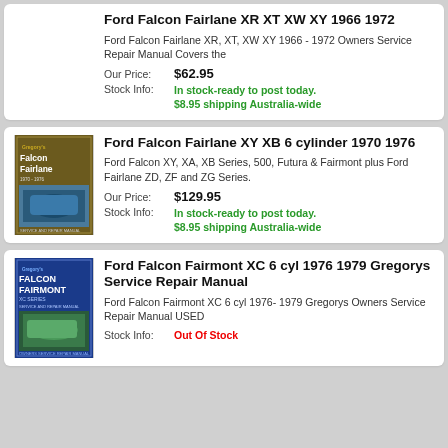Ford Falcon Fairlane XR XT XW XY 1966 1972
Ford Falcon Fairlane XR, XT, XW XY 1966 - 1972 Owners Service Repair Manual Covers the
Our Price: $62.95
Stock Info: In stock-ready to post today. $8.95 shipping Australia-wide
[Figure (illustration): Gregory's Falcon Fairlane service repair manual book cover]
Ford Falcon Fairlane XY XB 6 cylinder 1970 1976
Ford Falcon XY, XA, XB Series, 500, Futura & Fairmont plus Ford Fairlane ZD, ZF and ZG Series.
Our Price: $129.95
Stock Info: In stock-ready to post today. $8.95 shipping Australia-wide
[Figure (illustration): Gregory's Falcon Fairmont XC Series service repair manual book cover]
Ford Falcon Fairmont XC 6 cyl 1976 1979 Gregorys Service Repair Manual
Ford Falcon Fairmont XC 6 cyl 1976- 1979 Gregorys Owners Service Repair Manual USED
Stock Info: Out Of Stock